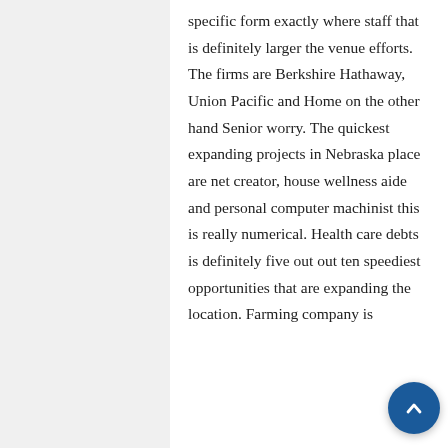specific form exactly where staff that is definitely larger the venue efforts. The firms are Berkshire Hathaway, Union Pacific and Home on the other hand Senior worry. The quickest expanding projects in Nebraska place are net creator, house wellness aide and personal computer machinist this is really numerical. Health care debts is definitely five out out ten speediest opportunities that are expanding the location. Farming company is